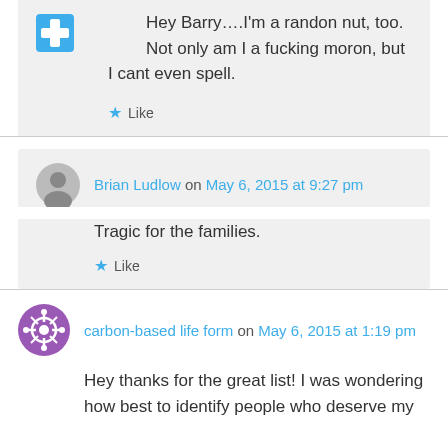Hey Barry….I'm a randon nut, too. Not only am I a fucking moron, but I cant even spell.
Like
Brian Ludlow on May 6, 2015 at 9:27 pm
Tragic for the families.
Like
carbon-based life form on May 6, 2015 at 1:19 pm
Hey thanks for the great list! I was wondering how best to identify people who deserve my